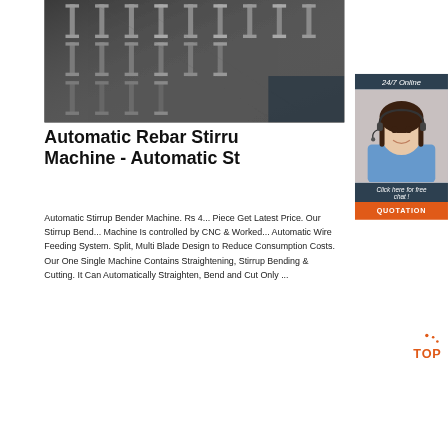[Figure (photo): Close-up photo of stacked steel H-beams/channels viewed from below at an angle, dark metallic industrial material]
[Figure (photo): Customer service agent woman with headset smiling, overlaid on dark blue-grey panel in top right, with '24/7 Online' label, 'Click here for free chat!' text, and orange QUOTATION button]
Automatic Rebar Stirru Machine - Automatic St
Automatic Stirrup Bender Machine. Rs 4... Piece Get Latest Price. Our Stirrup Bend... Machine Is controlled by CNC & Worked... Automatic Wire Feeding System. Split, Multi Blade Design to Reduce Consumption Costs. Our One Single Machine Contains Straightening, Stirrup Bending & Cutting. It Can Automatically Straighten, Bend and Cut Only ...